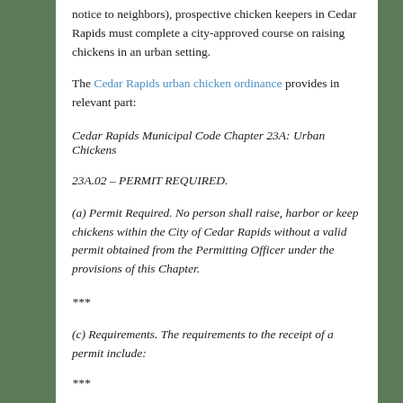notice to neighbors), prospective chicken keepers in Cedar Rapids must complete a city-approved course on raising chickens in an urban setting.
The Cedar Rapids urban chicken ordinance provides in relevant part:
Cedar Rapids Municipal Code Chapter 23A: Urban Chickens
23A.02 – PERMIT REQUIRED.
(a) Permit Required. No person shall raise, harbor or keep chickens within the City of Cedar Rapids without a valid permit obtained from the Permitting Officer under the provisions of this Chapter.
***
(c) Requirements. The requirements to the receipt of a permit include:
***